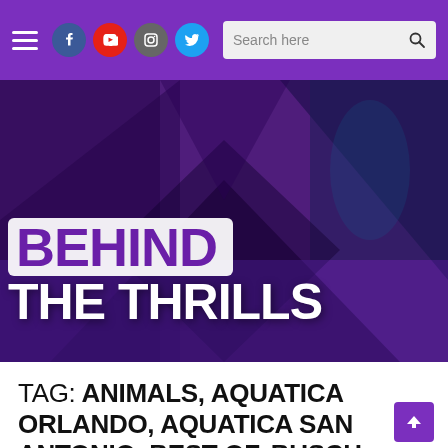Behind The Thrills – navigation header with hamburger menu, social icons (Facebook, YouTube, Instagram, Twitter), and search bar
[Figure (photo): Behind The Thrills website hero banner with collage of theme park images overlaid with purple/dark triangular shapes and the logo text 'BEHIND THE THRILLS' in large white and purple text on a white rounded rectangle badge]
TAG: ANIMALS, AQUATICA ORLANDO, AQUATICA SAN ANTONIO, BEST OF, BUSCH GARDENS WILLIAMSBURG